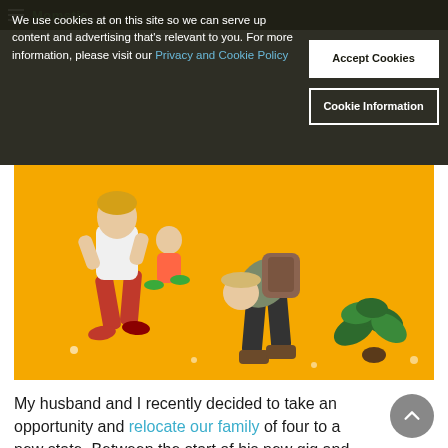We use cookies at on this site so we can serve up content and advertising that's relevant to you. For more information, please visit our Privacy and Cookie Policy
Accept Cookies
Cookie Information
[Figure (photo): Photo of a woman in red pants and white top and a man bent over with a backpack on a yellow background, along with a plant.]
My husband and I recently decided to take an opportunity and relocate our family of four to a new state. Between the start of his new gig and the close of